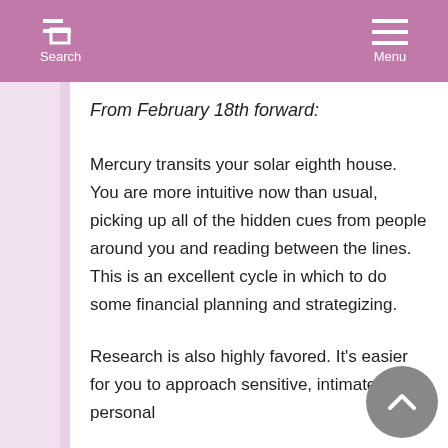Search  Menu
From February 18th forward:
Mercury transits your solar eighth house. You are more intuitive now than usual, picking up all of the hidden cues from people around you and reading between the lines. This is an excellent cycle in which to do some financial planning and strategizing.
Research is also highly favored. It's easier for you to approach sensitive, intimate, and personal